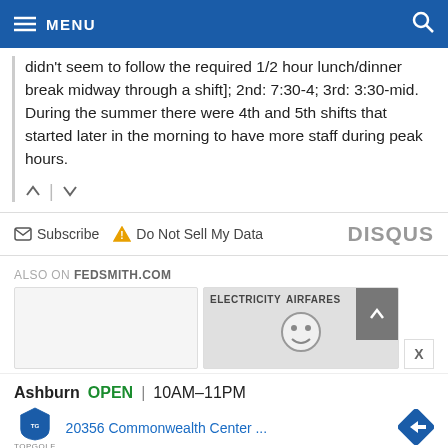MENU
didn't seem to follow the required 1/2 hour lunch/dinner break midway through a shift]; 2nd: 7:30-4; 3rd: 3:30-mid. During the summer there were 4th and 5th shifts that started later in the morning to have more staff during peak hours.
Subscribe   Do Not Sell My Data   DISQUS
ALSO ON FEDSMITH.COM
[Figure (screenshot): Two article card thumbnails under ALSO ON FEDSMITH.COM section, one blank white card and one showing ELECTRICITY AIRFARES text with a smiley face graphic and a scroll-to-top button]
Ashburn  OPEN | 10AM–11PM  20356 Commonwealth Center ...  TOPGOLF advertisement